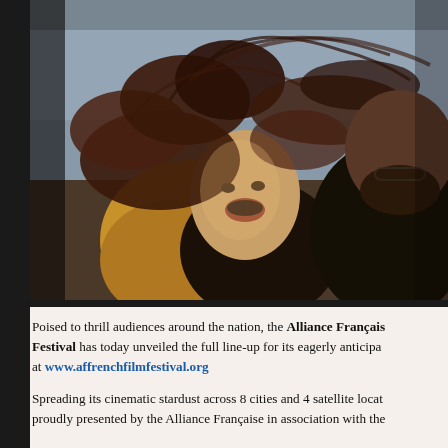[Figure (photo): Two people outdoors with windblown hair, woman laughing, man beside her, outdoor natural light setting]
Poised to thrill audiences around the nation, the Alliance Française French Film Festival has today unveiled the full line-up for its eagerly anticipated at www.affrenchfilmfestival.org
Spreading its cinematic stardust across 8 cities and 4 satellite locat... proudly presented by the Alliance Française in association with the...